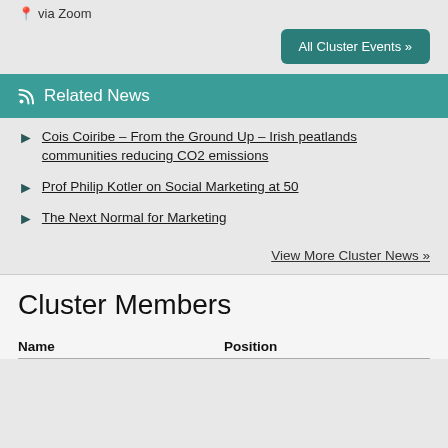via Zoom
All Cluster Events »
Related News
Cois Coiribe – From the Ground Up – Irish peatlands communities reducing CO2 emissions
Prof Philip Kotler on Social Marketing at 50
The Next Normal for Marketing
View More Cluster News »
Cluster Members
| Name | Position |
| --- | --- |